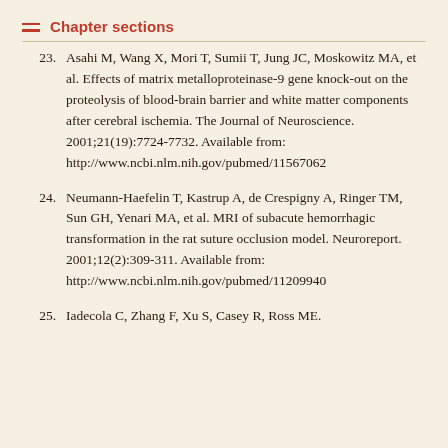Chapter sections
23. Asahi M, Wang X, Mori T, Sumii T, Jung JC, Moskowitz MA, et al. Effects of matrix metalloproteinase-9 gene knock-out on the proteolysis of blood-brain barrier and white matter components after cerebral ischemia. The Journal of Neuroscience. 2001;21(19):7724-7732. Available from: http://www.ncbi.nlm.nih.gov/pubmed/11567062
24. Neumann-Haefelin T, Kastrup A, de Crespigny A, Ringer TM, Sun GH, Yenari MA, et al. MRI of subacute hemorrhagic transformation in the rat suture occlusion model. Neuroreport. 2001;12(2):309-311. Available from: http://www.ncbi.nlm.nih.gov/pubmed/11209940
25. Iadecola C, Zhang F, Xu S, Casey R, Ross ME.